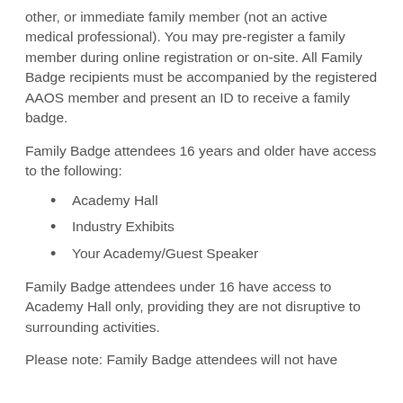other, or immediate family member (not an active medical professional). You may pre-register a family member during online registration or on-site. All Family Badge recipients must be accompanied by the registered AAOS member and present an ID to receive a family badge.
Family Badge attendees 16 years and older have access to the following:
Academy Hall
Industry Exhibits
Your Academy/Guest Speaker
Family Badge attendees under 16 have access to Academy Hall only, providing they are not disruptive to surrounding activities.
Please note: Family Badge attendees will not have